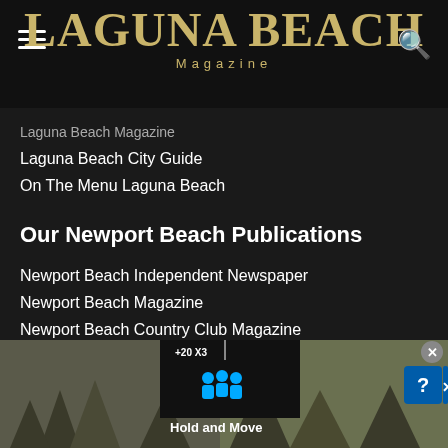Laguna Beach Magazine
Laguna Beach Magazine
Laguna Beach City Guide
On The Menu Laguna Beach
Our Newport Beach Publications
Newport Beach Independent Newspaper
Newport Beach Magazine
Newport Beach Country Club Magazine
Coastal Real Estate Guide (NB,LB, CDM)
Luxury Hospitality Publications
[Figure (screenshot): Mobile app advertisement banner showing 'Hold and Move' interface with trees background and blue UI elements]